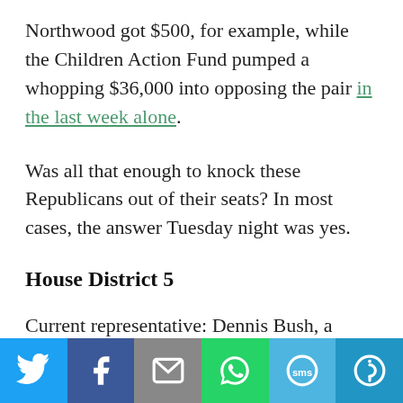Northwood got $500, for example, while the Children Action Fund pumped a whopping $36,000 into opposing the pair in the last week alone.
Was all that enough to knock these Republicans out of their seats? In most cases, the answer Tuesday night was yes.
House District 5
Current representative: Dennis Bush, a farmer from Cherokee
[Figure (other): Social media share bar with six buttons: Twitter (blue), Facebook (dark blue), Email (grey), WhatsApp (green), SMS (light blue), More (blue)]